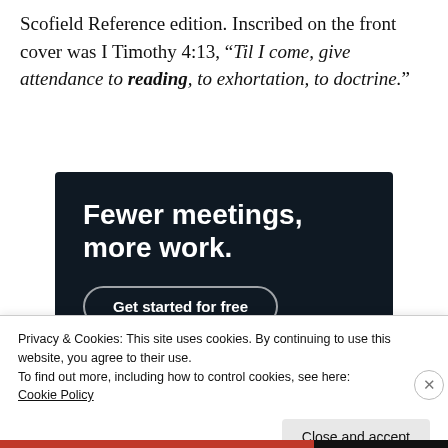Scofield Reference edition. Inscribed on the front cover was I Timothy 4:13, “Til I come, give attendance to reading, to exhortation, to doctrine.”
[Figure (other): Dark advertisement banner with white bold text reading 'Fewer meetings, more work.' and a 'Get started for free' button with rounded outline.]
Privacy & Cookies: This site uses cookies. By continuing to use this website, you agree to their use.
To find out more, including how to control cookies, see here:
Cookie Policy
Close and accept